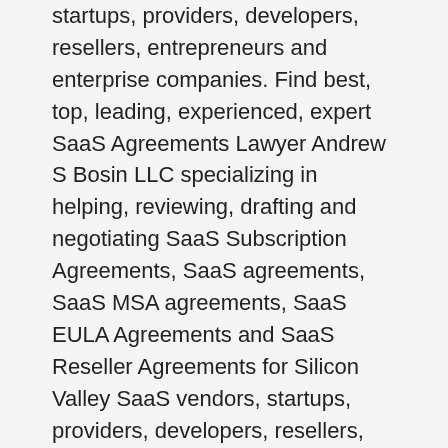startups, providers, developers, resellers, entrepreneurs and enterprise companies. Find best, top, leading, experienced, expert SaaS Agreements Lawyer Andrew S Bosin LLC specializing in helping, reviewing, drafting and negotiating SaaS Subscription Agreements, SaaS agreements, SaaS MSA agreements, SaaS EULA Agreements and SaaS Reseller Agreements for Silicon Valley SaaS vendors, startups, providers, developers, resellers, entrepreneurs and enterprise companies. Find best, top, leading, experienced, expert SaaS Agreements Lawyer Andrew S Bosin LLC specializing in helping, reviewing, drafting and negotiating SaaS Subscription Agreements, SaaS agreements, SaaS MSA agreements, SaaS EULA Agreements and SaaS Reseller Agreements for Oklahoma City SaaS vendors, startups, providers, developers, resellers, entrepreneurs and enterprise companies. Find best, top, leading, experienced, expert SaaS Agreements Lawyer Andrew S Bosin LLC specializing in helping, reviewing, drafting and negotiating SaaS Subscription Agreements, SaaS